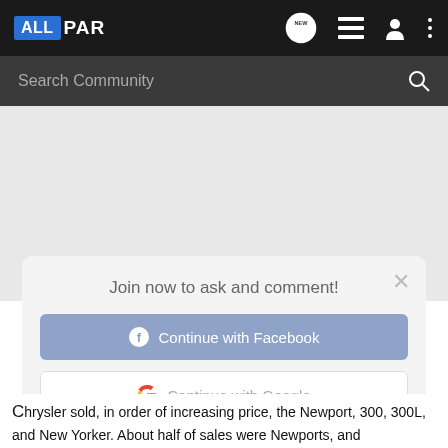ALLPAR
Search Community
Join now to ask and comment!
Continue with Facebook
Continue with Google
or sign up with email
Chrysler sold, in order of increasing price, the Newport, 300, 300L, and New Yorker. About half of sales were Newports, and